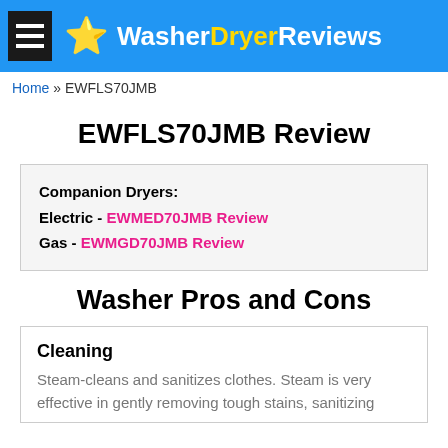WasherDryerReviews
Home » EWFLS70JMB
EWFLS70JMB Review
Companion Dryers:
Electric - EWMED70JMB Review
Gas - EWMGD70JMB Review
Washer Pros and Cons
Cleaning
Steam-cleans and sanitizes clothes. Steam is very effective in gently removing tough stains, sanitizing